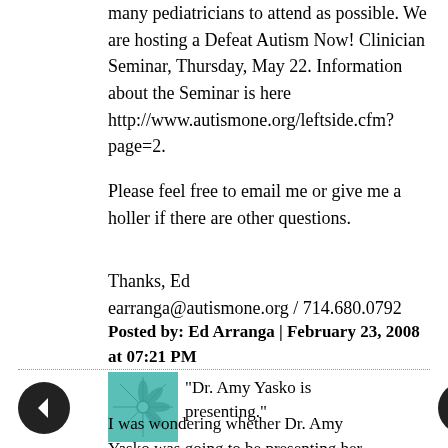many pediatricians to attend as possible. We are hosting a Defeat Autism Now! Clinician Seminar, Thursday, May 22. Information about the Seminar is here http://www.autismone.org/leftside.cfm?page=2.
Please feel free to email me or give me a holler if there are other questions.
Thanks, Ed
earranga@autismone.org / 714.680.0792
Posted by: Ed Arranga | February 23, 2008 at 07:21 PM
[Figure (illustration): Decorative teal/turquoise avatar icon with leaf/snowflake pattern]
"Dr. Amy Yasko is presenting."
I was wondering whether Dr. Amy Yasko was going to be presenting her